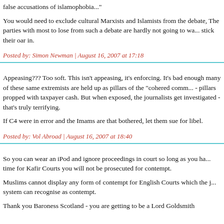false accusations of islamophobia..."
You would need to exclude cultural Marxists and Islamists from the debate, The parties with most to lose from such a debate are hardly not going to wa... stick their oar in.
Posted by: Simon Newman | August 16, 2007 at 17:18
Appeasing??? Too soft. This isn't appeasing, it's enforcing. It's bad enough many of these same extremists are held up as pillars of the "cohered comm... - pillars propped with taxpayer cash. But when exposed, the journalists get investigated - that's truly terrifying.
If C4 were in error and the Imams are that bothered, let them sue for libel.
Posted by: Vol Abroad | August 16, 2007 at 18:40
So you can wear an iPod and ignore proceedings in court so long as you ha... time for Kafir Courts you will not be prosecuted for contempt.
Muslims cannot display any form of contempt for English Courts which the j... system can recognise as contempt.
Thank you Baroness Scotland - you are getting to be a Lord Goldsmith